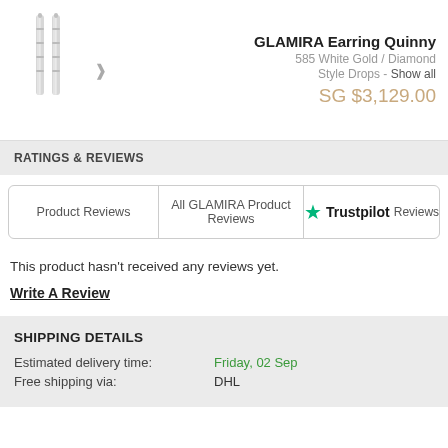[Figure (photo): Product image of GLAMIRA Earring Quinny diamond drop earrings in white gold, shown as a pair of long vertical drop earrings]
GLAMIRA Earring Quinny
585 White Gold / Diamond
Style Drops - Show all
SG $3,129.00
RATINGS & REVIEWS
Product Reviews
All GLAMIRA Product Reviews
Trustpilot Reviews
This product hasn't received any reviews yet.
Write A Review
SHIPPING DETAILS
Estimated delivery time:
Friday, 02 Sep
Free shipping via:
DHL